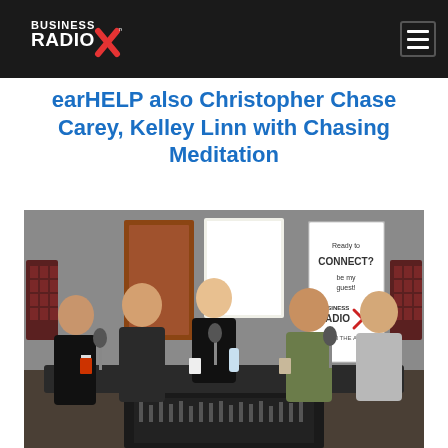Business Radio X
earHELP also Christopher Chase Carey, Kelley Linn with Chasing Meditation
[Figure (photo): Group photo of six people seated and standing around a radio studio broadcast desk with microphones, audio equipment, and a Business Radio X banner in the background. Acoustic foam panels visible on walls.]